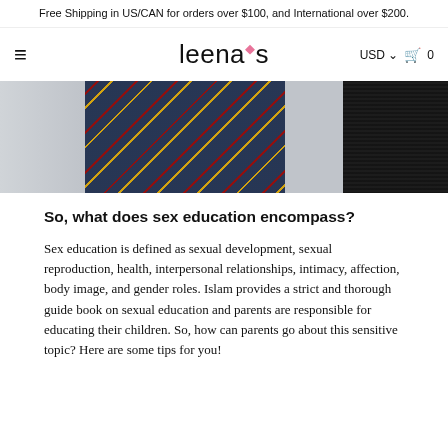Free Shipping in US/CAN for orders over $100, and International over $200.
[Figure (logo): Leena's brand logo with hamburger menu, USD currency selector, and cart icon (0 items)]
[Figure (photo): Fashion photo showing plaid shirt and black fur coat]
So, what does sex education encompass?
Sex education is defined as sexual development, sexual reproduction, health, interpersonal relationships, intimacy, affection, body image, and gender roles. Islam provides a strict and thorough guide book on sexual education and parents are responsible for educating their children. So, how can parents go about this sensitive topic? Here are some tips for you!